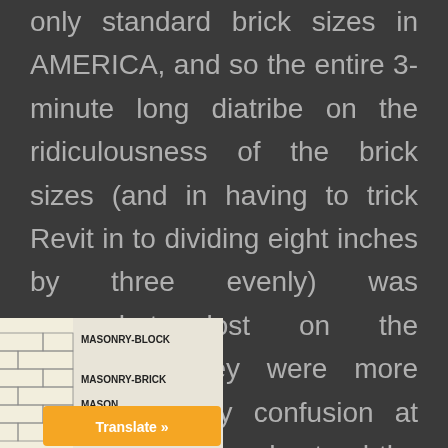only standard brick sizes in AMERICA, and so the entire 3-minute long diatribe on the ridiculousness of the brick sizes (and in having to trick Revit in to dividing eight inches by three evenly) was somewhat lost on the audience. They were more amused at my confusion at why they didn't understand the problem. =)
[Figure (illustration): Masonry block and masonry brick diagram showing brick layout patterns with dimension annotations, alongside labels reading MASONRY-BLOCK and MASONRY-BRICK and MASON. An orange Translate button overlay is visible at bottom right.]